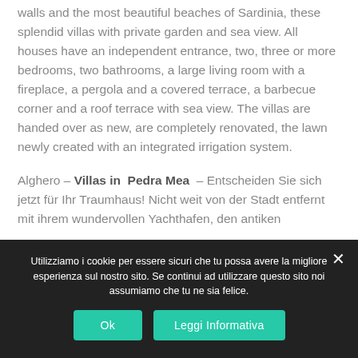walls and the most beautiful beaches of Sardinia, these splendid villas with private garden and sea view. All houses have an independent entrance, two, three or more bedrooms, two bathrooms, a large living room with a fireplace, a pergola and a covered terrace, a barbecue corner and a roof terrace with sea view. The villas are handed over as new, are completely renovated, the lawn newly created with an integrated irrigation system.
Alghero – Villas in Pedra Mea – Entscheiden Sie sich jetzt für Ihr Traumhaus! Nicht weit von der Stadt entfernt mit ihrem wundervollen Yachthafen, den antiken
Utilizziamo i cookie per essere sicuri che tu possa avere la migliore esperienza sul nostro sito. Se continui ad utilizzare questo sito noi assumiamo che tu ne sia felice.